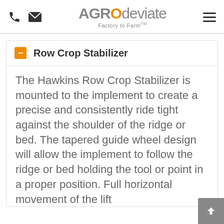AGROdeviate Factory to Farm™
Row Crop Stabilizer
The Hawkins Row Crop Stabilizer is mounted to the implement to create a precise and consistently ride tight against the shoulder of the ridge or bed. The tapered guide wheel design will allow the implement to follow the ridge or bed holding the tool or point in a proper position. Full horizontal movement of the lift